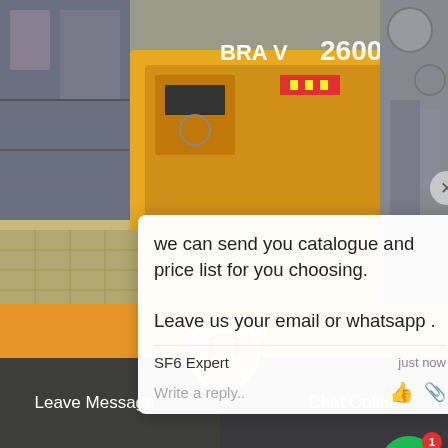[Figure (photo): Industrial/electrical equipment photo showing yellow machinery with orange text overlay '6China' and product listing below]
[Figure (screenshot): Chat popup overlay with message 'we can send you catalogue and price list for you choosing. Leave us your email or whatsapp.' from SF6 Expert, with reply input]
cutting-edge portable SF6 disposal for sale
5m/min Portable Woodworking Edge Banding Machine Wood PVC De... idth for Straight... Are Edges 3.6 out of 5 stars 1 $255.00 $250.00
Get Price
Leave Message
Chat Online